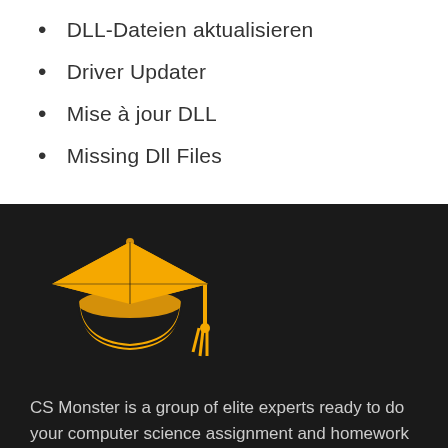DLL-Dateien aktualisieren
Driver Updater
Mise à jour DLL
Missing Dll Files
[Figure (illustration): Golden graduation cap (mortarboard) icon on dark background]
CS Monster is a group of elite experts ready to do your computer science assignment and homework for you at a budget friendly rate irrespective of how complex it is.